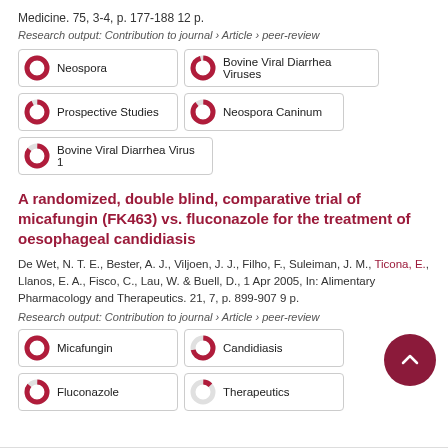Medicine. 75, 3-4, p. 177-188 12 p.
Research output: Contribution to journal › Article › peer-review
Neospora
Bovine Viral Diarrhea Viruses
Prospective Studies
Neospora Caninum
Bovine Viral Diarrhea Virus 1
A randomized, double blind, comparative trial of micafungin (FK463) vs. fluconazole for the treatment of oesophageal candidiasis
De Wet, N. T. E., Bester, A. J., Viljoen, J. J., Filho, F., Suleiman, J. M., Ticona, E., Llanos, E. A., Fisco, C., Lau, W. & Buell, D., 1 Apr 2005, In: Alimentary Pharmacology and Therapeutics. 21, 7, p. 899-907 9 p.
Research output: Contribution to journal › Article › peer-review
Micafungin
Candidiasis
Fluconazole
Therapeutics